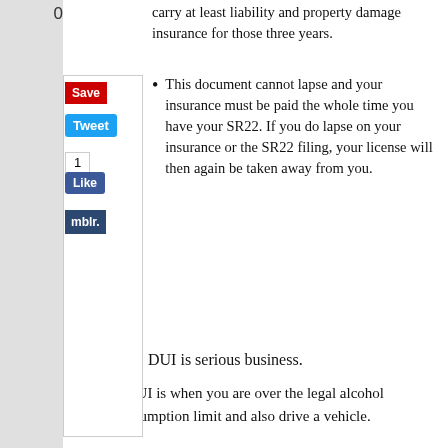carry at least liability and property damage insurance for those three years.
This document cannot lapse and your insurance must be paid the whole time you have your SR22. If you do lapse on your insurance or the SR22 filing, your license will then again be taken away from you.
DUI is serious business.
A DUI is when you are over the legal alcohol consumption limit and also drive a vehicle.
The state sees this as putting others in harms way. It is a serious violation and against the law.
A DUI can cost you thousands of dollars and even jail time. Statistically people between the ages of 21 and 25 are most likely to drive under the influence.
This is one reason why your car insurance may cost more until you hit the age of 25. You are at a higher risk